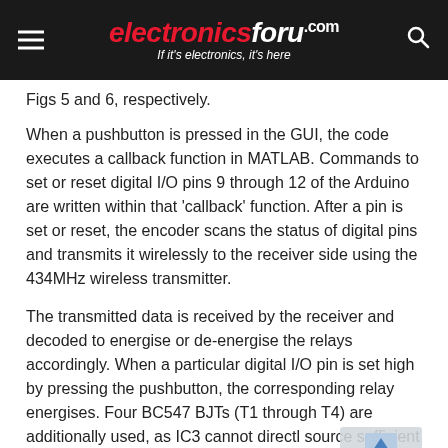electronicsforu.com — If it's electronics, it's here
Figs 5 and 6, respectively.
When a pushbutton is pressed in the GUI, the code executes a callback function in MATLAB. Commands to set or reset digital I/O pins 9 through 12 of the Arduino are written within that 'callback' function. After a pin is set or reset, the encoder scans the status of digital pins and transmits it wirelessly to the receiver side using the 434MHz wireless transmitter.
The transmitted data is received by the receiver and decoded to energise or de-energise the relays accordingly. When a particular digital I/O pin is set high by pressing the pushbutton, the corresponding relay energises. Four BC547 BJTs (T1 through T4) are additionally used, as IC3 cannot directly source sufficient current to energise relays.